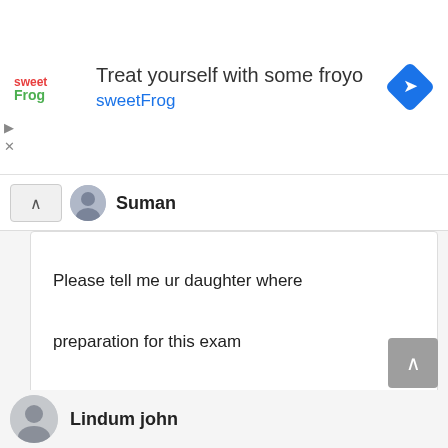[Figure (screenshot): Ad banner for sweetFrog frozen yogurt with logo, text 'Treat yourself with some froyo sweetFrog', and a blue diamond navigation icon]
Suman
Please tell me ur daughter where preparation for this exam
Reply
Lindum john